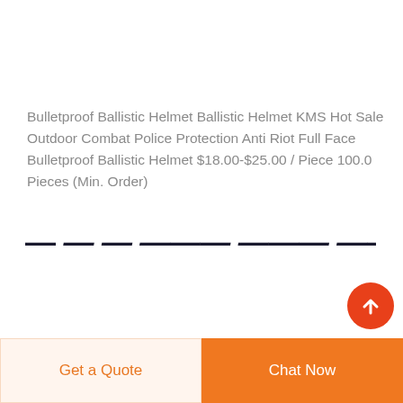Bulletproof Ballistic Helmet Ballistic Helmet KMS Hot Sale Outdoor Combat Police Protection Anti Riot Full Face Bulletproof Ballistic Helmet $18.00-$25.00 / Piece 100.0 Pieces (Min. Order)
Get a Quote
Chat Now